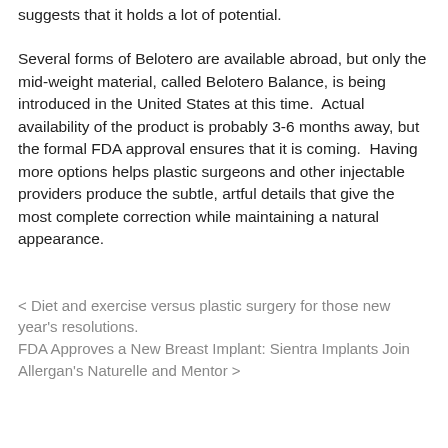suggests that it holds a lot of potential.
Several forms of Belotero are available abroad, but only the mid-weight material, called Belotero Balance, is being introduced in the United States at this time.  Actual availability of the product is probably 3-6 months away, but the formal FDA approval ensures that it is coming.  Having more options helps plastic surgeons and other injectable providers produce the subtle, artful details that give the most complete correction while maintaining a natural appearance.
< Diet and exercise versus plastic surgery for those new year's resolutions.
FDA Approves a New Breast Implant: Sientra Implants Join Allergan's Naturelle and Mentor >